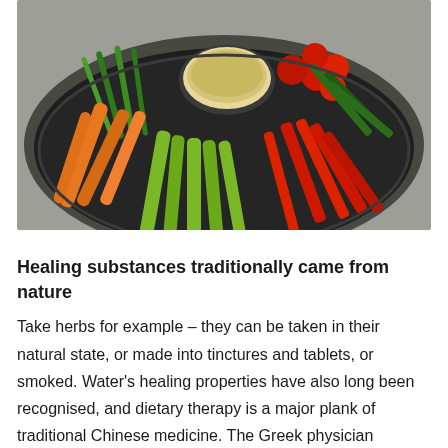[Figure (photo): A platter of fresh vegetable crudités arranged on a dark plate, including green beans, carrot sticks, celery, red bell pepper strips, cherry tomatoes, and a bowl of hummus dip in the center.]
Healing substances traditionally came from nature
Take herbs for example – they can be taken in their natural state, or made into tinctures and tablets, or smoked. Water's healing properties have also long been recognised, and dietary therapy is a major plank of traditional Chinese medicine. The Greek physician Hippocrates